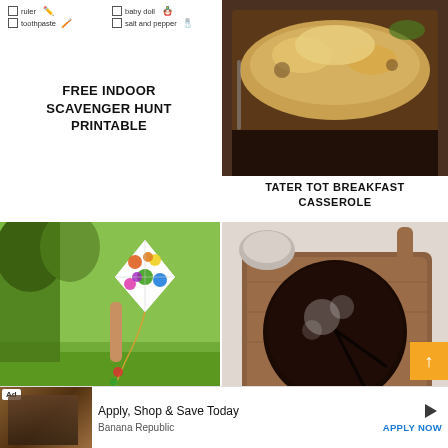[Figure (illustration): Scavenger hunt printable checklist with items: ruler, baby doll, toothpaste, salt and pepper, with small icons]
FREE INDOOR SCAVENGER HUNT PRINTABLE
[Figure (photo): Close-up photo of tater tot breakfast casserole on a dark plate, cheesy golden topping]
TATER TOT BREAKFAST CASSEROLE
[Figure (photo): Person holding a colorful polka-dot kite in a park with green trees in background]
HOW TO MAKE A KITE
[Figure (photo): Overhead view of a round chocolate cake on a wooden board with powdered sugar, sliced into pieces, with a small bowl in background]
Ad   Apply, Shop & Save Today   Banana Republic   APPLY NOW